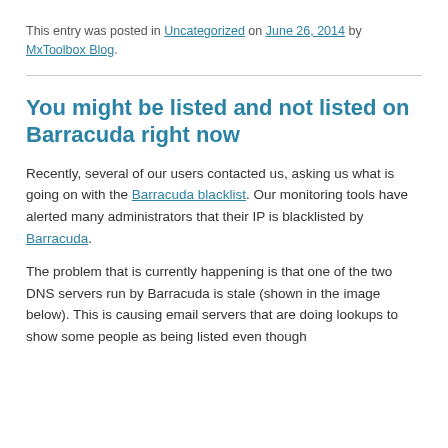This entry was posted in Uncategorized on June 26, 2014 by MxToolbox Blog.
You might be listed and not listed on Barracuda right now
Recently, several of our users contacted us, asking us what is going on with the Barracuda blacklist. Our monitoring tools have alerted many administrators that their IP is blacklisted by Barracuda.
The problem that is currently happening is that one of the two DNS servers run by Barracuda is stale (shown in the image below). This is causing email servers that are doing lookups to show some people as being listed even though